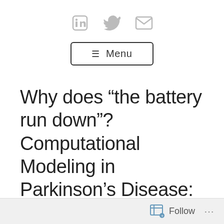LinkedIn Twitter Email social icons and Menu button
Why does “the battery run down”? Computational Modeling in Parkinson’s Disease: Towards an Understanding of the Pathophysiology of...
Follow ...